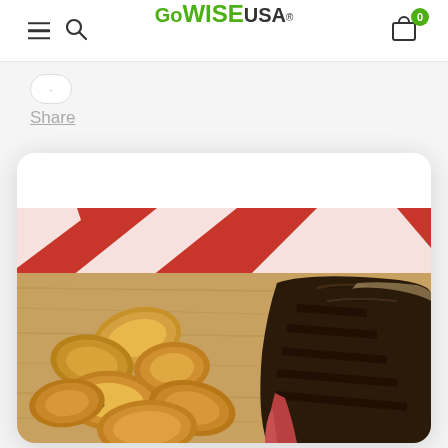GoWISE USA
Share
[Figure (photo): Food photo showing sliced grilled steak and roasted potato slices on a wooden cutting board with a red and white striped cloth in the background]